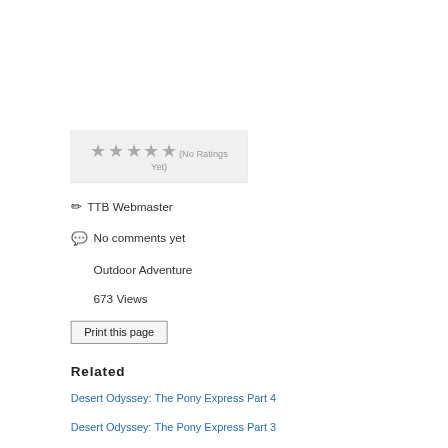[Figure (other): 5-star rating widget showing 4 empty/grey stars, with text '(No Ratings Yet)' below]
✏ TTB Webmaster
💬 No comments yet
Outdoor Adventure
673 Views
Print this page
Related
Desert Odyssey: The Pony Express Part 4
Desert Odyssey: The Pony Express Part 3